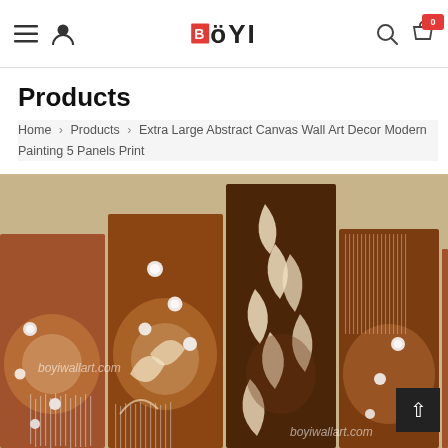BöYI — Navigation bar with hamburger menu, user icon, logo, search, and cart (badge: 0)
Products
Home › Products › Extra Large Abstract Canvas Wall Art Decor Modern Painting 5 Panels Print
[Figure (photo): Product photo: Extra Large Abstract Canvas Wall Art Decor — 5-panel canvas set with brown/gold floral and diamond decorative design. Watermark text: boyiwallart.com]